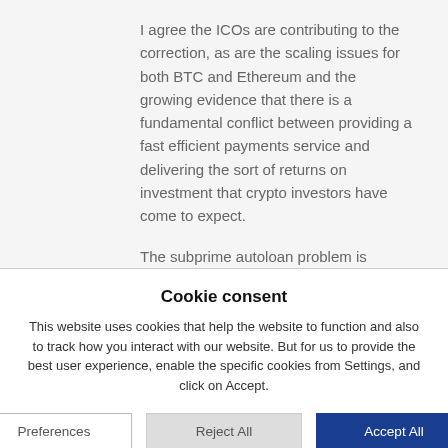I agree the ICOs are contributing to the correction, as are the scaling issues for both BTC and Ethereum and the growing evidence that there is a fundamental conflict between providing a fast efficient payments service and delivering the sort of returns on investment that crypto investors have come to expect.
The subprime autoloan problem is indeed worrying, as is student debt. But that does not mean the crypto industry is not in a bubble. It is.
Cookie consent
This website uses cookies that help the website to function and also to track how you interact with our website. But for us to provide the best user experience, enable the specific cookies from Settings, and click on Accept.
Preferences
Reject All
Accept All